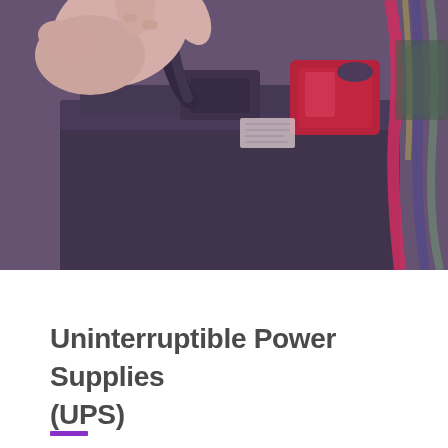[Figure (photo): Close-up photo of a hand connecting or disconnecting a cable/connector to a UPS battery terminal. The battery is dark grey/black with a red positive terminal cover. Various colorful wires are visible in the background. The image has a slight purple/pink tint overlay.]
Uninterruptible Power Supplies (UPS)